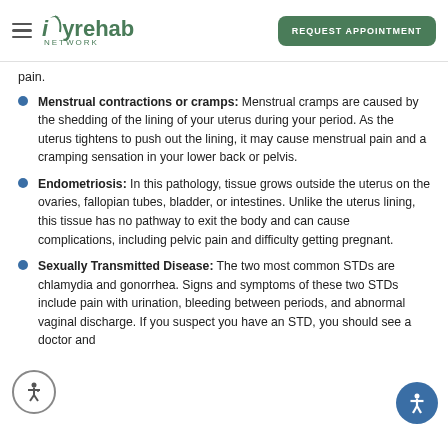Ivy Rehab Network — REQUEST APPOINTMENT
pain.
Menstrual contractions or cramps: Menstrual cramps are caused by the shedding of the lining of your uterus during your period. As the uterus tightens to push out the lining, it may cause menstrual pain and a cramping sensation in your lower back or pelvis.
Endometriosis: In this pathology, tissue grows outside the uterus on the ovaries, fallopian tubes, bladder, or intestines. Unlike the uterus lining, this tissue has no pathway to exit the body and can cause complications, including pelvic pain and difficulty getting pregnant.
Sexually Transmitted Disease: The two most common STDs are chlamydia and gonorrhea. Signs and symptoms of these two STDs include pain with urination, bleeding between periods, and abnormal vaginal discharge. If you suspect you have an STD, you should see a doctor and